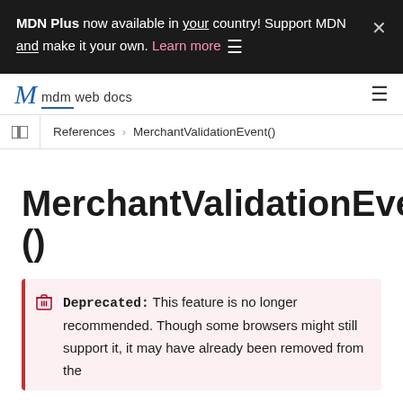MDN Plus now available in your country! Support MDN and make it your own. Learn more
mdn web docs
References > MerchantValidationEvent()
MerchantValidationEvent()
Deprecated: This feature is no longer recommended. Though some browsers might still support it, it may have already been removed from the